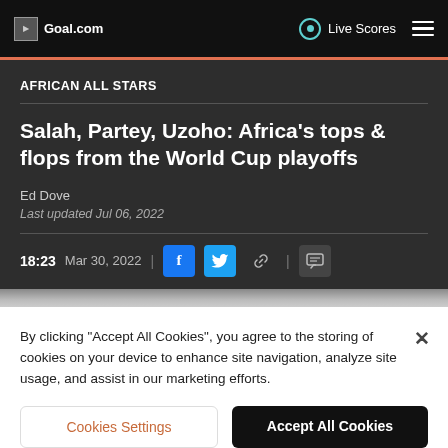Goal.com | Live Scores
AFRICAN ALL STARS
Salah, Partey, Uzoho: Africa's tops & flops from the World Cup playoffs
Ed Dove
Last updated Jul 06, 2022
18:23  Mar 30, 2022
By clicking "Accept All Cookies", you agree to the storing of cookies on your device to enhance site navigation, analyze site usage, and assist in our marketing efforts.
Cookies Settings
Accept All Cookies